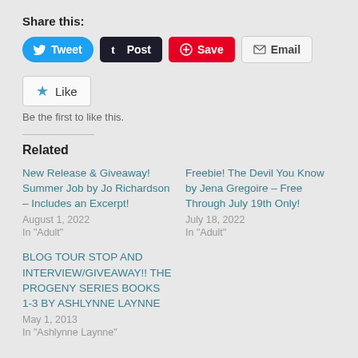Share this:
[Figure (infographic): Social share buttons: Tweet (Twitter/blue), Post (Tumblr/dark), Save (Pinterest/red), Email (grey outline)]
[Figure (infographic): Like button with blue star icon and text 'Like']
Be the first to like this.
Related
New Release & Giveaway! Summer Job by Jo Richardson – Includes an Excerpt!
August 1, 2022
In "Adult"
Freebie! The Devil You Know by Jena Gregoire – Free Through July 19th Only!
July 18, 2022
In "Adult"
BLOG TOUR STOP AND INTERVIEW/GIVEAWAY!! THE PROGENY SERIES BOOKS 1-3 BY ASHLYNNE LAYNNE
May 1, 2013
In "Ashlynne Laynne"